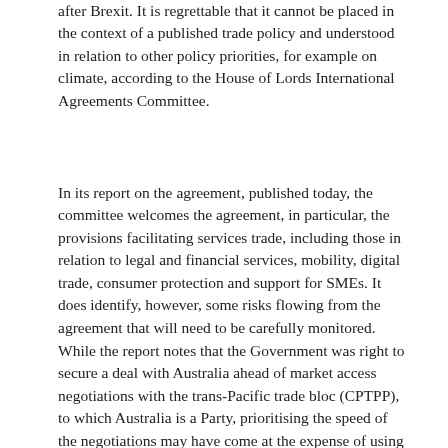after Brexit. It is regrettable that it cannot be placed in the context of a published trade policy and understood in relation to other policy priorities, for example on climate, according to the House of Lords International Agreements Committee.
In its report on the agreement, published today, the committee welcomes the agreement, in particular, the provisions facilitating services trade, including those in relation to legal and financial services, mobility, digital trade, consumer protection and support for SMEs. It does identify, however, some risks flowing from the agreement that will need to be carefully monitored.
While the report notes that the Government was right to secure a deal with Australia ahead of market access negotiations with the trans-Pacific trade bloc (CPTPP), to which Australia is a Party, prioritising the speed of the negotiations may have come at the expense of using the UK's leverage to negotiate better outcomes—for example, on Geographical Indications (GIs) and